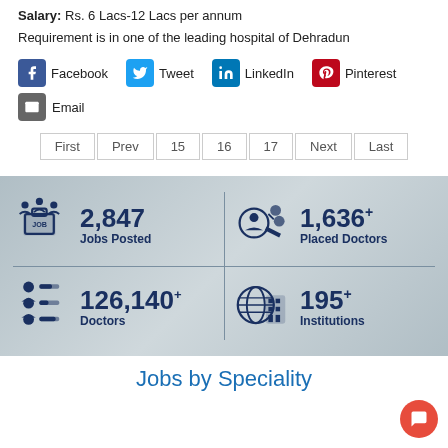Salary: Rs. 6 Lacs-12 Lacs per annum
Requirement is in one of the leading hospital of Dehradun
Facebook  Tweet  LinkedIn  Pinterest  Email
First  Prev  15  16  17  Next  Last
[Figure (infographic): Statistics infographic showing 4 stats: 2,847 Jobs Posted, 1,636+ Placed Doctors, 126,140+ Doctors, 195+ Institutions with icons on a blurred background]
Jobs by Speciality